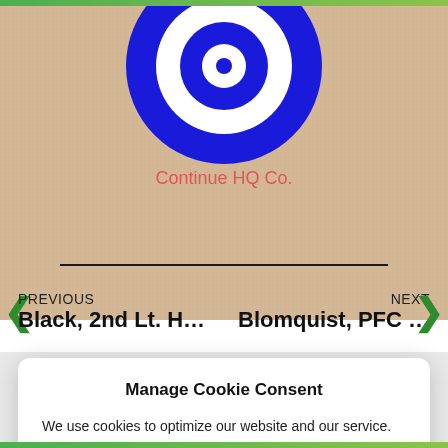[Figure (logo): Blue circular logo (evil eye or target style) partially visible at top of page on tan/kraft paper background]
Continue HQ Co.
PREVIOUS
Black, 2nd Lt. H…
NEXT
Blomquist, PFC …
Manage Cookie Consent
We use cookies to optimize our website and our service.
Accept
Cookie Policy   Privacy Policy